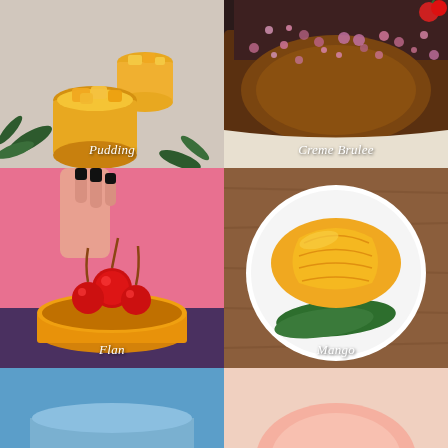[Figure (photo): Pudding in small glass cups with mango pieces on top, garnished with green leaves on a light fabric background]
[Figure (photo): Creme Brulee with caramelized sugar topping sprinkled with purple sugar crystals and a cherry]
[Figure (photo): Flan dessert with maraschino cherries on top, hand with black nail polish holding cherries, pink background]
[Figure (photo): Sliced mango arranged on a white plate with a banana leaf, on a wooden table]
[Figure (photo): Partially visible food item with blue sky background (bottom left)]
[Figure (photo): Partially visible pink/cream colored food item (bottom right)]